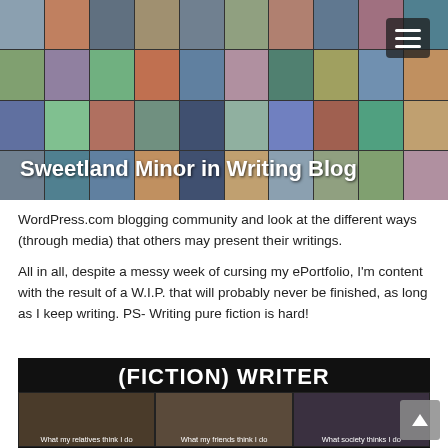[Figure (photo): Website header banner with mosaic of photos as background and blog title 'Sweetland Minor in Writing Blog' in white bold text, with a hamburger menu button in the top right corner.]
WordPress.com blogging community and look at the different ways (through media) that others may present their writings.
All in all, despite a messy week of cursing my ePortfolio, I'm content with the result of a W.I.P. that will probably never be finished, as long as I keep writing. PS- Writing pure fiction is hard!
[Figure (photo): Meme image with dark background showing '(FICTION) WRITER' as title and three panels labeled 'What my relatives think I do', 'What my friends think I do', 'What society thinks I do' with photos of different people.]